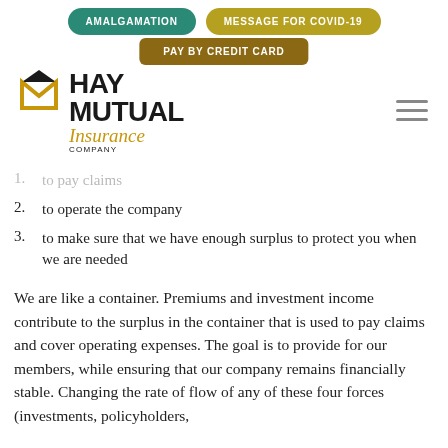AMALGAMATION | MESSAGE FOR COVID-19 | PAY BY CREDIT CARD
[Figure (logo): Hay Mutual Insurance Company logo with stylized M icon]
1. to pay claims
2. to operate the company
3. to make sure that we have enough surplus to protect you when we are needed
We are like a container. Premiums and investment income contribute to the surplus in the container that is used to pay claims and cover operating expenses. The goal is to provide for our members, while ensuring that our company remains financially stable. Changing the rate of flow of any of these four forces (investments, policyholders,